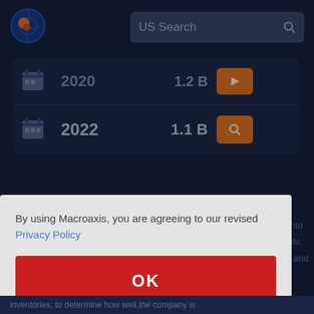[Figure (screenshot): Macroaxis website logo — orange and blue globe icon]
US Search
| Year | Value | Action |
| --- | --- | --- |
| 2020 | 1.2 B | arrow button |
| 2022 | 1.1 B | search button |
By using Macroaxis, you are agreeing to our revised Privacy Policy
OK
inventories, to determine how well the company is